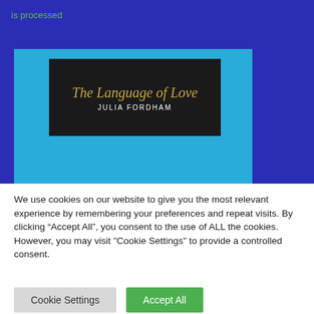is processed
[Figure (screenshot): Album cover for 'The Language of Love' by Julia Fordham — dark background with gold italic title text and white artist name in spaced capitals, displayed inside a cyan card on a dark blue background.]
We use cookies on our website to give you the most relevant experience by remembering your preferences and repeat visits. By clicking “Accept All”, you consent to the use of ALL the cookies. However, you may visit “Cookie Settings” to provide a controlled consent.
Cookie Settings
Accept All